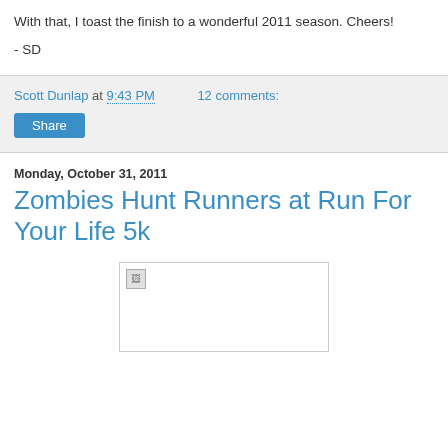With that, I toast the finish to a wonderful 2011 season. Cheers!
- SD
Scott Dunlap at 9:43 PM   12 comments:
Share
Monday, October 31, 2011
Zombies Hunt Runners at Run For Your Life 5k
[Figure (photo): Broken image placeholder]